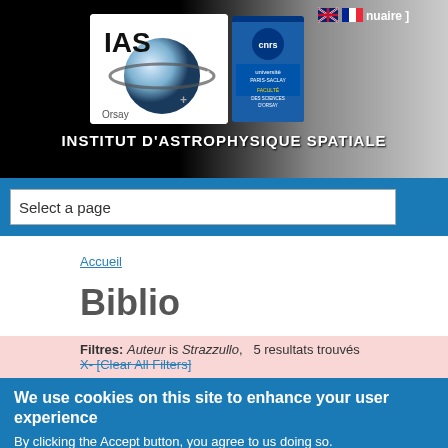[Figure (logo): IAS (Institut d'Astrophysique Spatiale) and CNRS/Université Paris-Saclay logos on black-to-grey gradient header banner]
nuaire ]
INSTITUT D'ASTROPHYSIQUE SPATIALE
Select a page
Accueil
Biblio
Filtres: Auteur is Strazzullo,   5 resultats trouvés
X- [Clear All Filters]
We use cookies on this site to enhance your user experience
By clicking the Accept button, you agree to us doing so.
No, give me more info